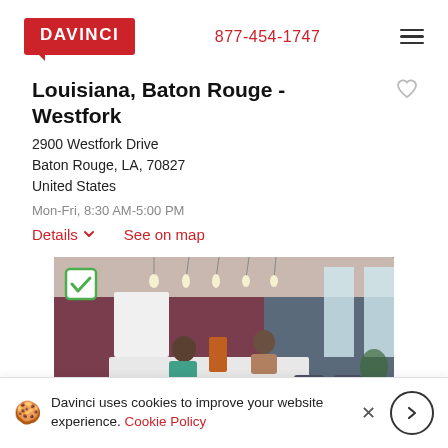DAVINCI | 877-454-1747
Louisiana, Baton Rouge - Westfork
2900 Westfork Drive
Baton Rouge, LA, 70827
United States
Mon-Fri, 8:30 AM-5:00 PM
Details ▾   See on map
[Figure (photo): Interior photo of a modern office/coworking space with pendant lights, two people at a white table, dark blue and burgundy walls, with a green checkbox overlay in the top-left corner.]
Davinci uses cookies to improve your website experience. Cookie Policy